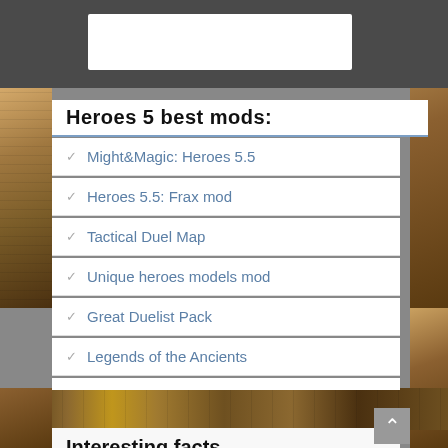Heroes 5 best mods:
Might&Magic: Heroes 5.5
Heroes 5.5: Frax mod
Tactical Duel Map
Unique heroes models mod
Great Duelist Pack
Legends of the Ancients
Interesting facts
Did you know
Arcomage
Heroes III Comic Strips